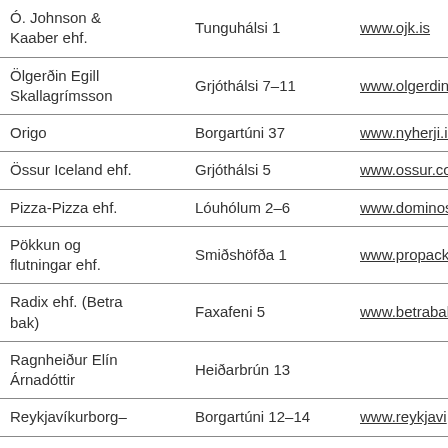| Company | Address | Website |
| --- | --- | --- |
| Ó. Johnson & Kaaber ehf. | Tunguhálsi 1 | www.ojk.is |
| Ölgerðin Egill Skallagrímsson | Grjóthálsi 7–11 | www.olgerdin. |
| Origo | Borgartúni 37 | www.nyherji.is |
| Össur Iceland ehf. | Grjóthálsi 5 | www.ossur.com |
| Pizza-Pizza ehf. | Lóuhólum 2–6 | www.dominos. |
| Pökkun og flutningar ehf. | Smiðshöfða 1 | www.propack. |
| Radix ehf. (Betra bak) | Faxafeni 5 | www.betrabak |
| Ragnheiður Elín Árnadóttir | Heiðarbrún 13 |  |
| Reykjavíkurborg– | Borgartúni 12–14 | www.reykjavi... |